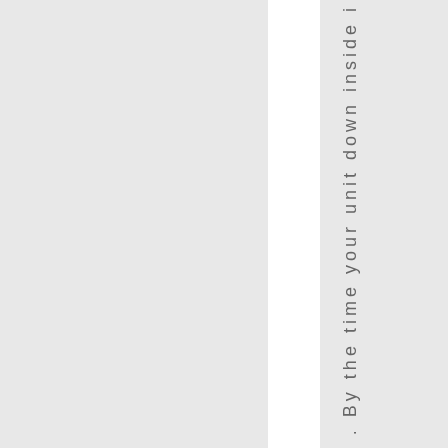. By the time your unit down inside i